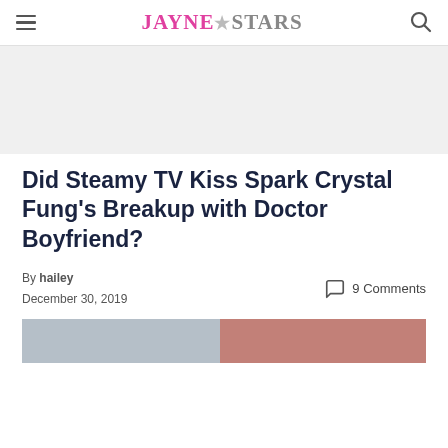JAYNE★STARS
Did Steamy TV Kiss Spark Crystal Fung's Breakup with Doctor Boyfriend?
By hailey
December 30, 2019
9 Comments
[Figure (photo): Partial image strip showing two sections: left grey/blue and right reddish-pink, likely a cropped photo of Crystal Fung]